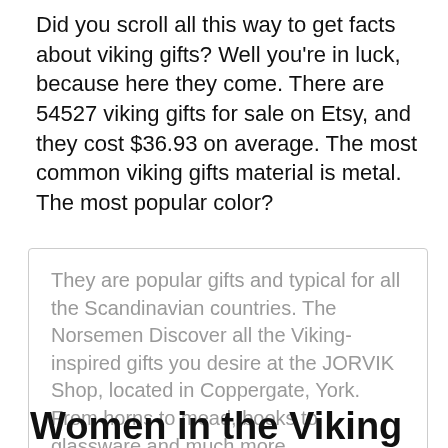Did you scroll all this way to get facts about viking gifts? Well you're in luck, because here they come. There are 54527 viking gifts for sale on Etsy, and they cost $36.93 on average. The most common viking gifts material is metal. The most popular color?
They are popular gifts and typical for all the Scandinavian countries. The Norsemen Discover all the Viking-inspired gifts you desire at the JORVIK Shop, located in Coppergate, York. From horns to mead, books to glassware and much more.
Women in the Viking